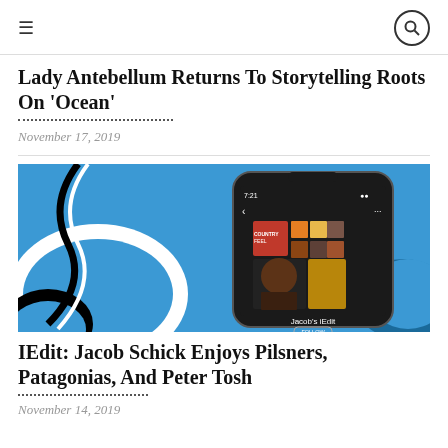≡  🔍
Lady Antebellum Returns To Storytelling Roots On 'Ocean'
November 17, 2019
[Figure (photo): Spotify app on iPhone showing Jacob's iEdit playlist with Shuffle Play button on blue illustrated background]
IEdit: Jacob Schick Enjoys Pilsners, Patagonias, And Peter Tosh
November 14, 2019